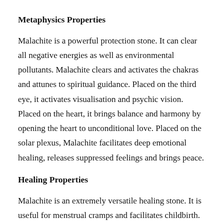Metaphysics Properties
Malachite is a powerful protection stone. It can clear all negative energies as well as environmental pollutants. Malachite clears and activates the chakras and attunes to spiritual guidance. Placed on the third eye, it activates visualisation and psychic vision. Placed on the heart, it brings balance and harmony by opening the heart to unconditional love. Placed on the solar plexus, Malachite facilitates deep emotional healing, releases suppressed feelings and brings peace.
Healing Properties
Malachite is an extremely versatile healing stone. It is useful for menstrual cramps and facilitates childbirth. It also lowers blood pressure and treats arthritis,